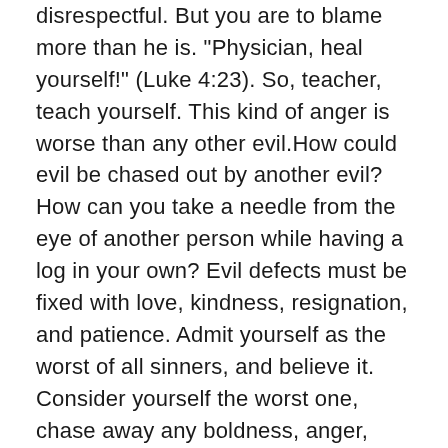disrespectful. But you are to blame more than he is. “Physician, heal yourself!” (Luke 4:23). So, teacher, teach yourself. This kind of anger is worse than any other evil.How could evil be chased out by another evil? How can you take a needle from the eye of another person while having a log in your own? Evil defects must be fixed with love, kindness, resignation, and patience. Admit yourself as the worst of all sinners, and believe it. Consider yourself the worst one, chase away any boldness, anger, impatience and fury;you may start helping others. Be indulgent about the defects of others, because if you see their faults all the time, there will be continuous enmity. “The plowers plowed upon my back: they made long their furrows.”(Psalm 129:3). “For if you forgive men their trespasses, your heavenly Father will also forgive you.”(Matthew 6:14).